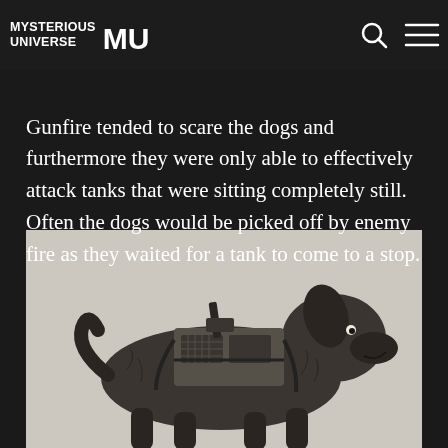Mysterious Universe
140-41, with mixed results. Gunfire tended to scare the dogs and furthermore they were only able to effectively attack tanks that were sitting completely still. Often the dogs would be picked off by enemy fire as they waited for a tank to come to a stop.
[Figure (illustration): Black and white illustration of a dog (appears to be a retriever or similar breed) fitted with an explosive/bomb device strapped to its back, including what appears to be a detonator mechanism. The dog is drawn in a detailed sketch style.]